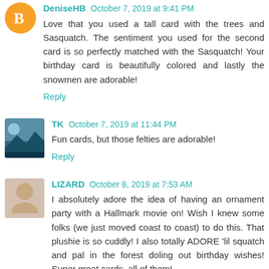DeniseHB October 7, 2019 at 9:41 PM
Love that you used a tall card with the trees and Sasquatch. The sentiment you used for the second card is so perfectly matched with the Sasquatch! Your birthday card is beautifully colored and lastly the snowmen are adorable!
Reply
TK October 7, 2019 at 11:44 PM
Fun cards, but those felties are adorable!
Reply
LIZARD October 8, 2019 at 7:53 AM
I absolutely adore the idea of having an ornament party with a Hallmark movie on! Wish I knew some folks (we just moved coast to coast) to do this. That plushie is so cuddly! I also totally ADORE 'lil squatch and pal in the forest doling out birthday wishes! Super great cards, all of them!